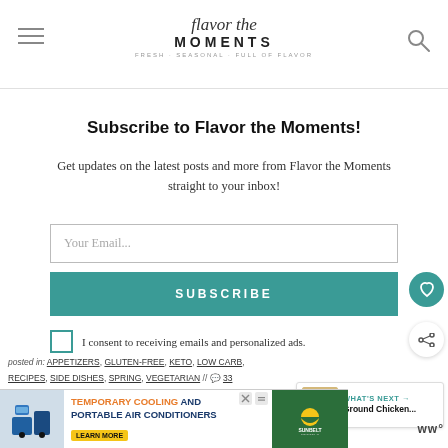Flavor the Moments — Fresh, seasonal, full of flavor
Subscribe to Flavor the Moments!
Get updates on the latest posts and more from Flavor the Moments straight to your inbox!
Your Email...
SUBSCRIBE
I consent to receiving emails and personalized ads.
WHAT'S NEXT → Ground Chicken...
posted in: APPETIZERS, GLUTEN-FREE, KETO, LOW CARB, RECIPES, SIDE DISHES, SPRING, VEGETARIAN // 💬 33
[Figure (screenshot): Advertisement banner for temporary cooling and portable air conditioners with LEARN MORE button and Sunbelt Rentals logo]